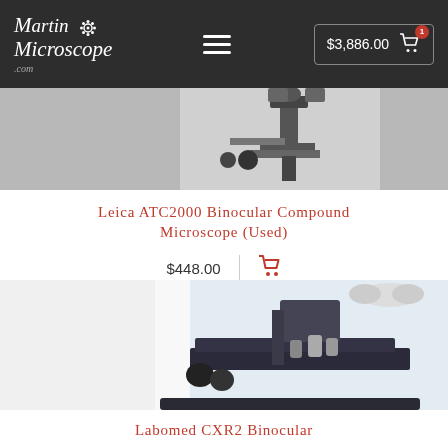Martin Microscope.com — $3,886.00 cart (1 item)
[Figure (photo): Close-up photo of a binocular compound microscope (Leica ATC2000) showing the eyepieces and stage area, dark background with gray tones.]
Leica ATC2000 Binocular Compound Microscope (Used)
$448.00
[Figure (photo): Close-up photo of a binocular microscope (Labomed CXR2), showing the stage, nosepiece with objectives, and base. White/gray background.]
Labomed CXR2 Binocular
$295.00